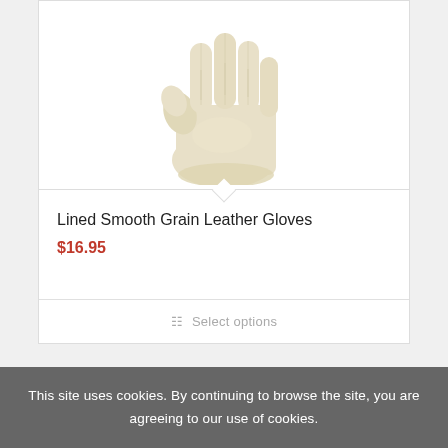[Figure (photo): A cream/tan colored leather glove photographed against a white background, showing the palm and fingers of the glove.]
Lined Smooth Grain Leather Gloves
$16.95
Select options
This site uses cookies. By continuing to browse the site, you are agreeing to our use of cookies.